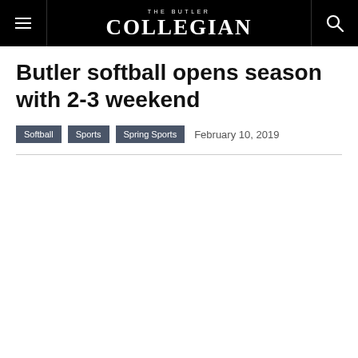THE BUTLER COLLEGIAN
Butler softball opens season with 2-3 weekend
Softball  Sports  Spring Sports  February 10, 2019